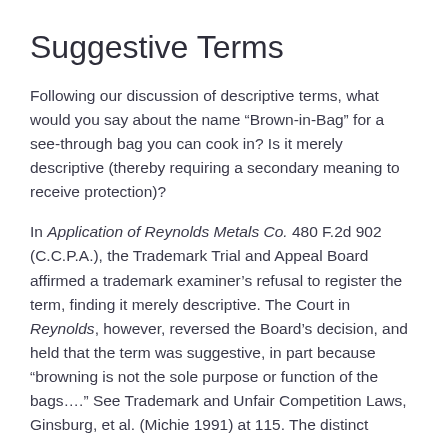Suggestive Terms
Following our discussion of descriptive terms, what would you say about the name “Brown-in-Bag” for a see-through bag you can cook in? Is it merely descriptive (thereby requiring a secondary meaning to receive protection)?
In Application of Reynolds Metals Co. 480 F.2d 902 (C.C.P.A.), the Trademark Trial and Appeal Board affirmed a trademark examiner’s refusal to register the term, finding it merely descriptive. The Court in Reynolds, however, reversed the Board’s decision, and held that the term was suggestive, in part because “browning is not the sole purpose or function of the bags….” See Trademark and Unfair Competition Laws, Ginsburg, et al. (Michie 1991) at 115. The distinct